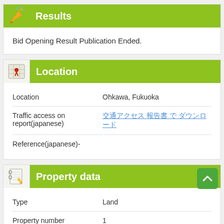Results
Bid Opening Result Publication Ended.
Location
| Field | Value |
| --- | --- |
| Location | Ohkawa, Fukuoka |
| Traffic access on report(japanese) | [Japanese link text] |
| Reference(japanese)- |  |
Property data
| Field | Value |
| --- | --- |
| Type | Land |
| Property number | 1 |